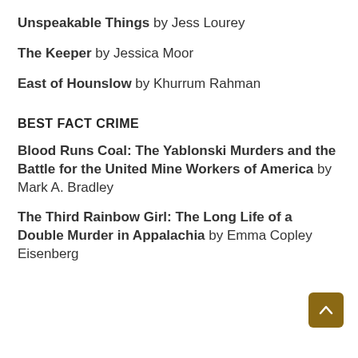Unspeakable Things by Jess Lourey
The Keeper by Jessica Moor
East of Hounslow by Khurrum Rahman
BEST FACT CRIME
Blood Runs Coal: The Yablonski Murders and the Battle for the United Mine Workers of America by Mark A. Bradley
The Third Rainbow Girl: The Long Life of a Double Murder in Appalachia by Emma Copley Eisenberg